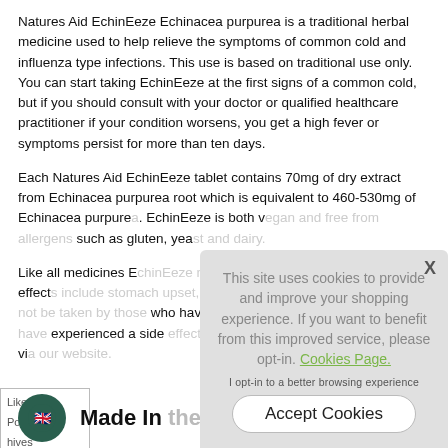Natures Aid EchinEeze Echinacea purpurea is a traditional herbal medicine used to help relieve the symptoms of common cold and influenza type infections. This use is based on traditional use only. You can start taking EchinEeze at the first signs of a common cold, but if you should consult with your doctor or qualified healthcare practitioner if your condition worsens, you get a high fever or symptoms persist for more than ten days.
Each Natures Aid EchinEeze tablet contains 70mg of dry extract from Echinacea purpurea root which is equivalent to 460-530mg of Echinacea purpurea. EchinEeze is both v... such as gluten, yea...
Like all medicines E... Possible side effects... hives or rashes. Ech... who have a tenden... experienced a side... report this to us via...
[Figure (screenshot): Cookie consent overlay with message: This site uses cookies to provide and improve your shopping experience. If you want to benefit from this improved service, please opt-in. Cookies Page. I opt-in to a better browsing experience. Accept Cookies button. X close button.]
Made In the UK